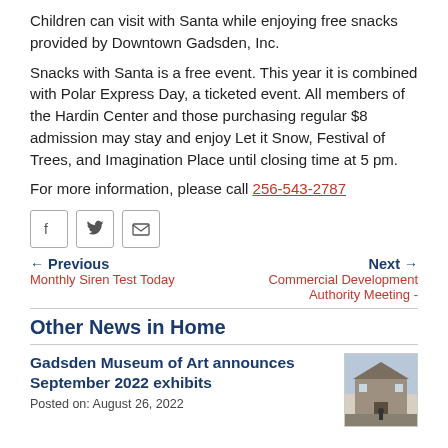Children can visit with Santa while enjoying free snacks provided by Downtown Gadsden, Inc.
Snacks with Santa is a free event. This year it is combined with Polar Express Day, a ticketed event. All members of the Hardin Center and those purchasing regular $8 admission may stay and enjoy Let it Snow, Festival of Trees, and Imagination Place until closing time at 5 pm.
For more information, please call 256-543-2787
[Figure (other): Social share buttons: Facebook, Twitter, Email]
Previous — Monthly Siren Test Today | Next — Commercial Development Authority Meeting -
Other News in Home
Gadsden Museum of Art announces September 2022 exhibits
Posted on: August 26, 2022